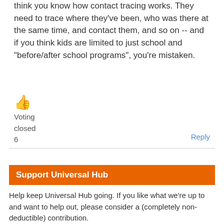think you know how contact tracing works. They need to trace where they've been, who was there at the same time, and contact them, and so on -- and if you think kids are limited to just school and "before/after school programs", you're mistaken.
👍
Voting
closed
6
Reply
Support Universal Hub
Help keep Universal Hub going. If you like what we're up to and want to help out, please consider a (completely non-deductible) contribution.
Support now